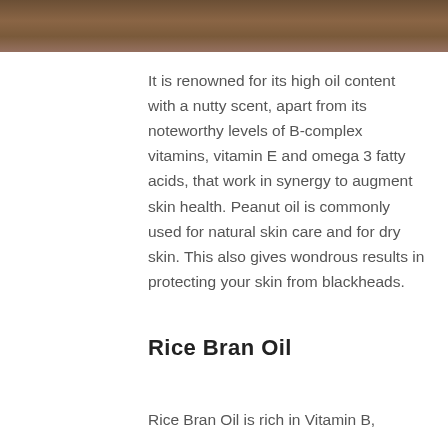[Figure (photo): Partial image of a wooden surface with a teal/blue circular object, cropped at top of page]
It is renowned for its high oil content with a nutty scent, apart from its noteworthy levels of B-complex vitamins, vitamin E and omega 3 fatty acids, that work in synergy to augment skin health. Peanut oil is commonly used for natural skin care and for dry skin. This also gives wondrous results in protecting your skin from blackheads.
Rice Bran Oil
Rice Bran Oil is rich in Vitamin B,